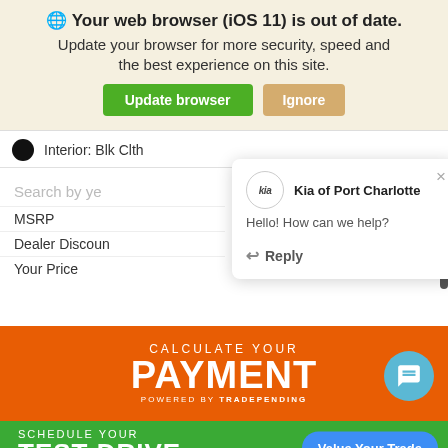[Figure (screenshot): Browser update notification banner with globe icon, title 'Your web browser (iOS 11) is out of date.', subtitle 'Update your browser for more security, speed and the best experience on this site.', green 'Update browser' button and tan 'Ignore' button]
Interior: Blk Clth
Search by ye
MSRP
Dealer Discount
Your Price
[Figure (screenshot): Chat popup from Kia of Port Charlotte with Kia logo circle, heading 'Kia of Port Charlotte', message 'Hello! How can we help?', and a Reply button with arrow icon. Close X button top right.]
[Figure (screenshot): Orange banner reading 'CALCULATE YOUR PAYMENT POWERED BY TRADEPENDING' with a teal chat bubble icon on the right]
[Figure (screenshot): Green banner reading 'SCHEDULE YOUR TEST DRIVE' with a blue 'Value Your Trade' pill button on the right]